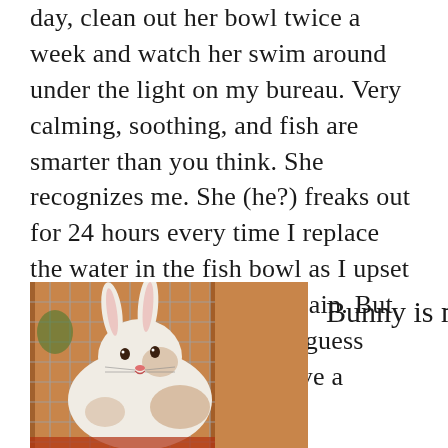day, clean out her bowl twice a week and watch her swim around under the light on my bureau. Very calming, soothing, and fish are smarter than you think. She recognizes me. She (he?) freaks out for 24 hours every time I replace the water in the fish bowl as I upset his/her ecosystem once again. But she/he puts up with me. I guess Cindy the Fish doesn't have a choice.
[Figure (photo): A white and brown spotted rabbit sitting in a wire cage with a wooden background]
Bunny is much more high